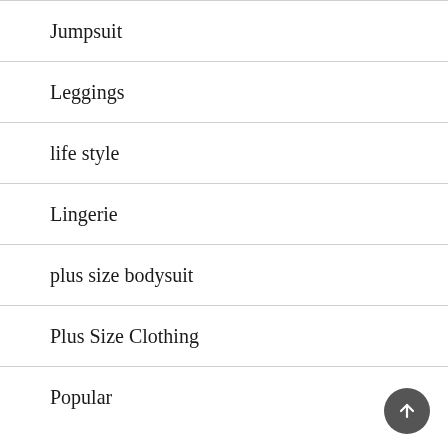Jumpsuit
Leggings
life style
Lingerie
plus size bodysuit
Plus Size Clothing
Popular